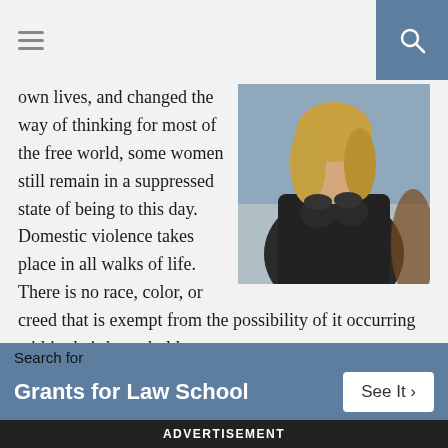[Figure (photo): Woman in a dark turtleneck/jacket with hands clasped near face, looking distressed, blonde hair, outdoor background]
own lives, and changed the way of thinking for most of the free world, some women still remain in a suppressed state of being to this day. Domestic violence takes place in all walks of life. There is no race, color, or creed that is exempt from the possibility of it occurring within their households.
Battered women are made to feel worthless and insignificant through the hands of their abusers. The longer the abuse takes place, the more worthless these women are made to feel. With each passing day, they will fall deeper and deeper into their dark
Search for
Grants for Law School
See It >
ADVERTISEMENT